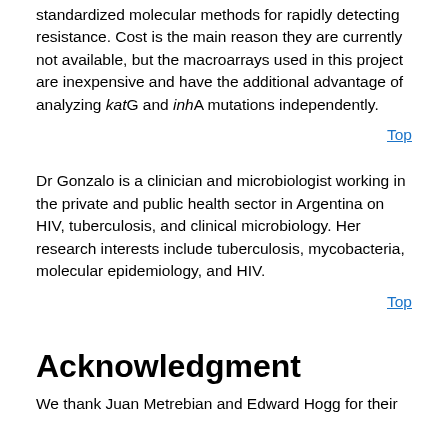standardized molecular methods for rapidly detecting resistance. Cost is the main reason they are currently not available, but the macroarrays used in this project are inexpensive and have the additional advantage of analyzing katG and inhA mutations independently.
Top
Dr Gonzalo is a clinician and microbiologist working in the private and public health sector in Argentina on HIV, tuberculosis, and clinical microbiology. Her research interests include tuberculosis, mycobacteria, molecular epidemiology, and HIV.
Top
Acknowledgment
We thank Juan Metrebian and Edward Hogg for their